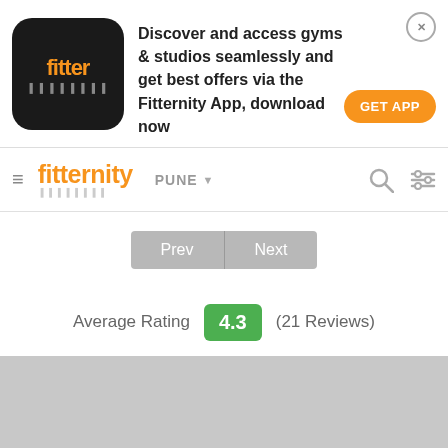[Figure (screenshot): Fitternity app banner advertisement with app icon, text about discovering gyms and studios, and GET APP button]
fitternity | PUNE
Prev | Next
Average Rating 4.3 (21 Reviews)
[Figure (photo): Gray placeholder image area at the bottom of the page]